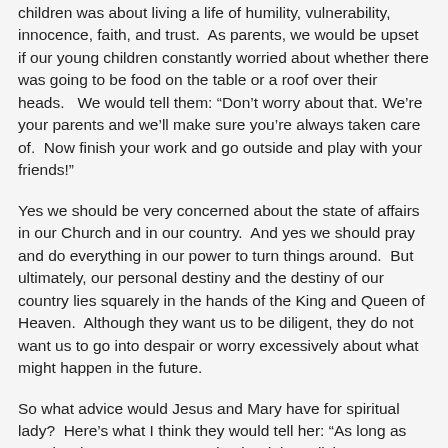children was about living a life of humility, vulnerability, innocence, faith, and trust.  As parents, we would be upset if our young children constantly worried about whether there was going to be food on the table or a roof over their heads.   We would tell them: “Don’t worry about that. We’re your parents and we’ll make sure you’re always taken care of.  Now finish your work and go outside and play with your friends!”
Yes we should be very concerned about the state of affairs in our Church and in our country.  And yes we should pray and do everything in our power to turn things around.  But ultimately, our personal destiny and the destiny of our country lies squarely in the hands of the King and Queen of Heaven.  Although they want us to be diligent, they do not want us to go into despair or worry excessively about what might happen in the future.
So what advice would Jesus and Mary have for spiritual lady?  Here’s what I think they would tell her: “As long as you do what you’re supposed to be doing – living a pure and holy life and serving God to the best of your ability – we don’t want you to worry about anything.  You do your part and we’ll take care of the rest.  Now finish your work and go have some fun with your family members and